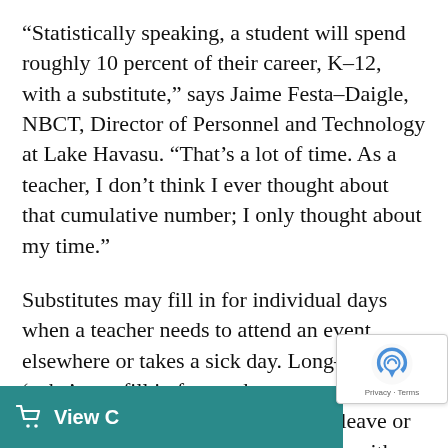“Statistically speaking, a student will spend roughly 10 percent of their career, K–12, with a substitute,” says Jaime Festa–Daigle, NBCT, Director of Personnel and Technology at Lake Havasu. “That’s a lot of time. As a teacher, I don’t think I ever thought about that cumulative number; I only thought about my time.”
Substitutes may fill in for individual days when a teacher needs to attend an event elsewhere or takes a sick day. Long–term ‘subs’ may fill in for weeks or months at a time because of a teacher’s medical leave or if a district isn’t able to fill a position with a certified teacher. A district like Lake Havasu, Fes[ta–Daigle] likely has more demand for s[ubstitutes]